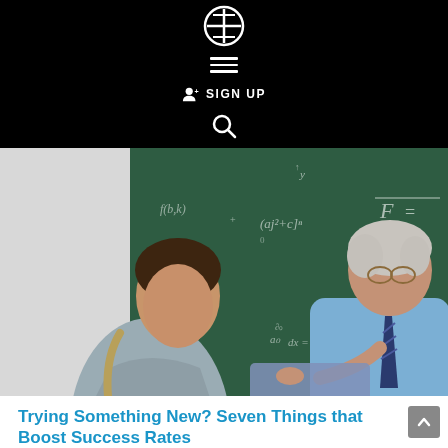Navigation header with logo, hamburger menu, SIGN UP, and search icon
[Figure (photo): Teacher (older man in blue shirt and tie) leaning over to help a young male student, with a green chalkboard covered in mathematical equations in the background]
Trying Something New? Seven Things that Boost Success Rates